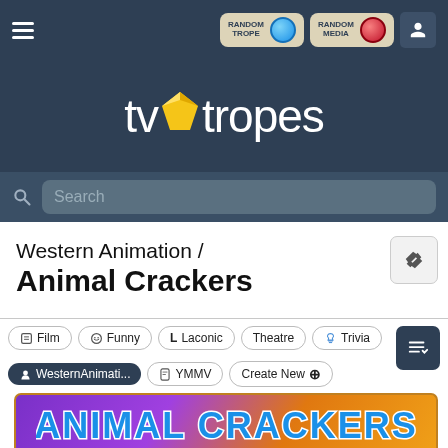[Figure (screenshot): TV Tropes website header with navigation bar showing hamburger menu, Random Trope and Random Media buttons, and user icon]
[Figure (logo): TV Tropes logo with yellow gem/diamond shape between 'tv' and 'tropes' text in white on dark blue background]
[Figure (screenshot): Search bar with magnifying glass icon and Search placeholder text on dark blue background]
Western Animation / Animal Crackers
Film | Funny | Laconic | Theatre | Trivia | WesternAnimati... | YMMV | Create New
[Figure (photo): Animal Crackers animated title logo with colorful bubble letters on purple/orange gradient background]